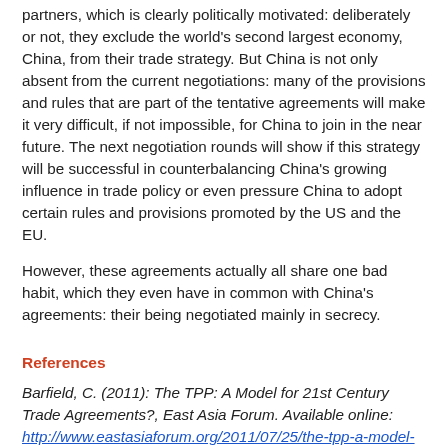partners, which is clearly politically motivated: deliberately or not, they exclude the world's second largest economy, China, from their trade strategy. But China is not only absent from the current negotiations: many of the provisions and rules that are part of the tentative agreements will make it very difficult, if not impossible, for China to join in the near future. The next negotiation rounds will show if this strategy will be successful in counterbalancing China's growing influence in trade policy or even pressure China to adopt certain rules and provisions promoted by the US and the EU.
However, these agreements actually all share one bad habit, which they even have in common with China's agreements: their being negotiated mainly in secrecy.
References
Barfield, C. (2011): The TPP: A Model for 21st Century Trade Agreements?, East Asia Forum. Available online: http://www.eastasiaforum.org/2011/07/25/the-tpp-a-model-